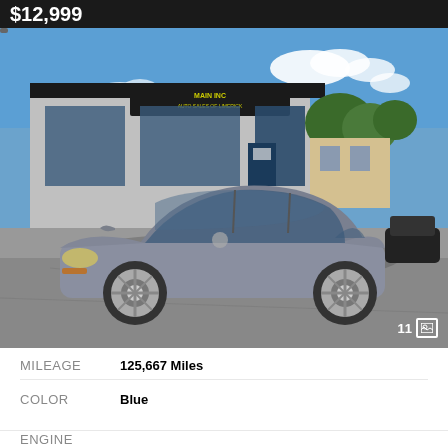$12,999
[Figure (photo): Toyota Corolla sedan in gray/silver color parked in front of an auto dealership named 'Auto Sales of Limerick Inc' on a sunny day. The car is facing right on a paved lot.]
| MILEAGE | 125,667 Miles |
| COLOR | Blue |
| ENGINE |  |